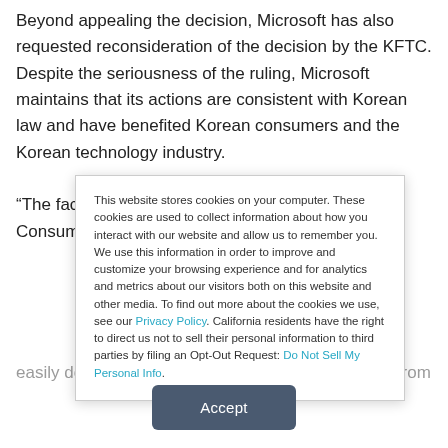Beyond appealing the decision, Microsoft has also requested reconsideration of the decision by the KFTC. Despite the seriousness of the ruling, Microsoft maintains that its actions are consistent with Korean law and have benefited Korean consumers and the Korean technology industry.
“The facts do not support the KFTC’s position. Consumers can easily download and use a wide range of software from many
This website stores cookies on your computer. These cookies are used to collect information about how you interact with our website and allow us to remember you. We use this information in order to improve and customize your browsing experience and for analytics and metrics about our visitors both on this website and other media. To find out more about the cookies we use, see our Privacy Policy. California residents have the right to direct us not to sell their personal information to third parties by filing an Opt-Out Request: Do Not Sell My Personal Info.
Accept